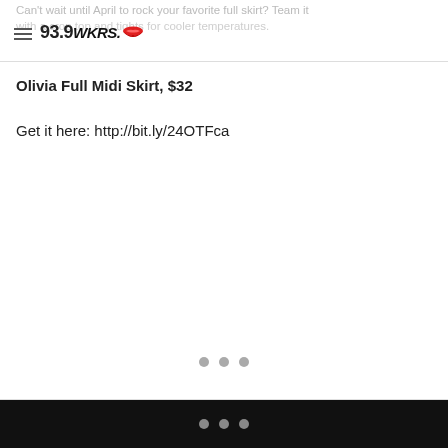Can't wait until April to rock your favorite full skirt? Team it with a crop top and tights for cooler temperatures.
Olivia Full Midi Skirt, $32
Get it here: http://bit.ly/24OTFca